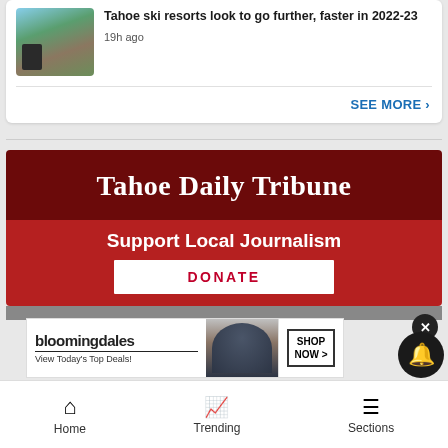[Figure (screenshot): Thumbnail image of ski resort/Tahoe area outdoor scene with trees and a structure]
Tahoe ski resorts look to go further, faster in 2022-23
19h ago
SEE MORE ›
[Figure (logo): Tahoe Daily Tribune banner advertisement with 'Support Local Journalism' text and DONATE button]
[Figure (advertisement): Bloomingdale's advertisement: 'View Today's Top Deals!' with SHOP NOW > button]
Home   Trending   Sections